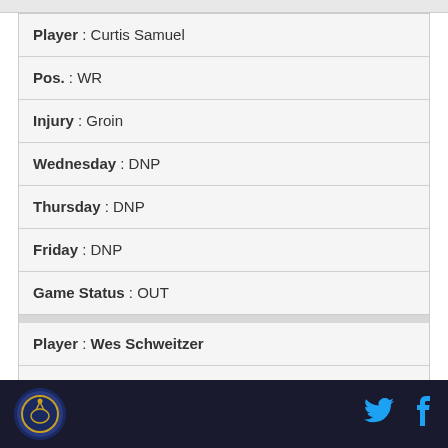| Player : Curtis Samuel |
| Pos. : WR |
| Injury : Groin |
| Wednesday : DNP |
| Thursday : DNP |
| Friday : DNP |
| Game Status : OUT |
| Player : Wes Schweitzer |
| Pos. : G |
| Injury : Neck |
| Wednesday : DNP |
Logo | Twitter | Facebook